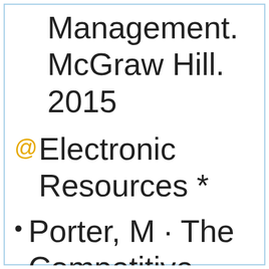Management. McGraw Hill. 2015
@Electronic Resources *
Porter, M · The Competitive Advantage of Nations :